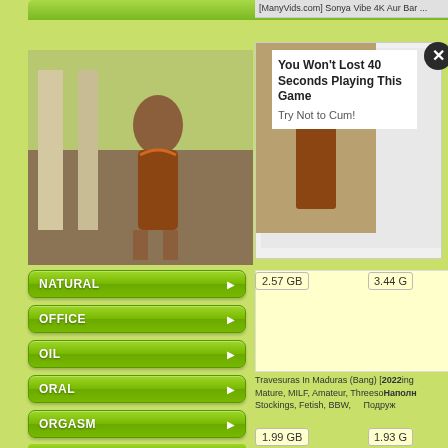[Figure (screenshot): Website screenshot showing adult content navigation menu with green gradient buttons (NATURAL, OFFICE, OIL, ORAL, ORGASM, ORGY, OUTDOORS) on the left, and torrent/file browser on the right with file sizes 2.57 GB, 3.44 G, 1.99 GB, 1.93 G. An advertisement overlay shows a thumbnail image and text 'You Won't Lost 40 Seconds Playing This Game / Try Not to Cum!' with a close button.]